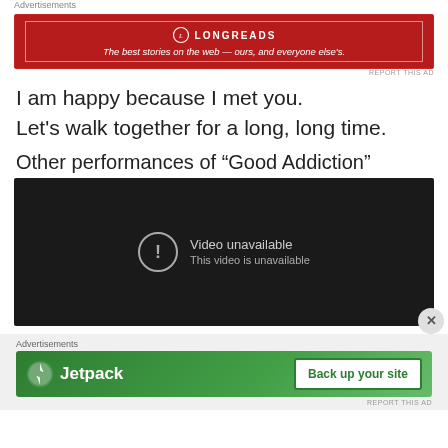Advertisements
[Figure (other): Longreads advertisement banner: red background with Longreads logo and tagline 'The best stories on the web — ours, and everyone else's.']
I am happy because I met you.
Let's walk together for a long, long time.
Other performances of “Good Addiction”
[Figure (screenshot): Video player showing 'Video unavailable. This video is unavailable.' on a dark background.]
Advertisements
[Figure (other): Jetpack advertisement banner: green background with Jetpack logo and 'Back up your site' button.]